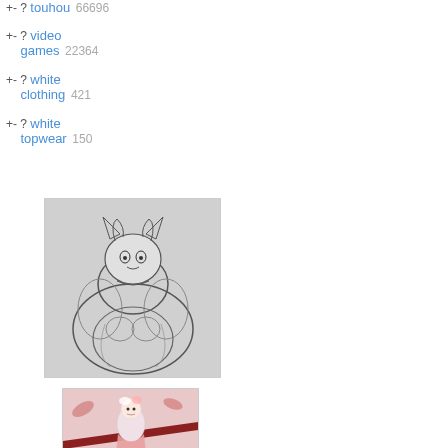+- ? touhou 66696
+- ? video games 22364
+- ? white clothing 421
+- ? white topwear 150
[Figure (illustration): Pencil sketch illustration of an anthropomorphic cat/fox character with large body and detailed face]
[Figure (photo): Photo of a small anime figurine held between fingers, pink background with leaf decorations]